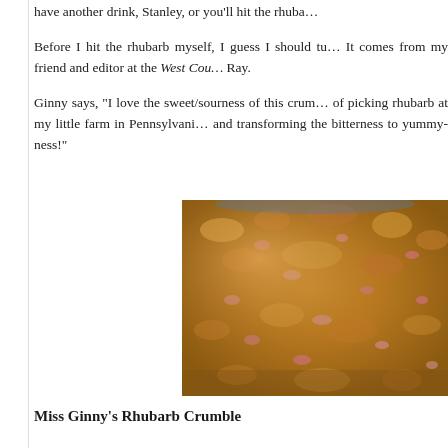have another drink, Stanley, or you'll hit the rhuba...
Before I hit the rhubarb myself, I guess I should tu... It comes from my friend and editor at the West Cou... Ray.
Ginny says, “I love the sweet/sourness of this crum... of picking rhubarb at my little farm in Pennsylvani... and transforming the bitterness to yummy-ness!”
[Figure (photo): Close-up photograph of a rhubarb crumble dessert, showing golden-brown crumble topping with visible rhubarb pieces.]
Miss Ginny’s Rhubarb Crumble